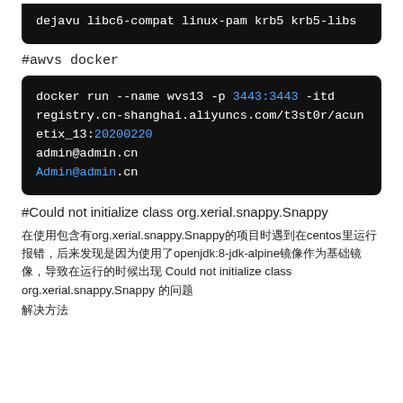[Figure (screenshot): Dark terminal/code block showing: dejavu libc6-compat linux-pam krb5 krb5-libs]
#awvs docker
[Figure (screenshot): Dark terminal/code block showing docker run command with registry.cn-shanghai.aliyuncs.com/t3st0r/acunetix_13:20200220, admin@admin.cn, Admin@admin.cn]
#Could not initialize class org.xerial.snappy.Snappy
在使用包含有org.xerial.snappy.Snappy的项目时遇到在centos里运行报错，后来发现是因为使用了openjdk:8-jdk-alpine镜像作为基础镜像，导致在运行的时候出现 Could not initialize class org.xerial.snappy.Snappy 的问题
解决方法